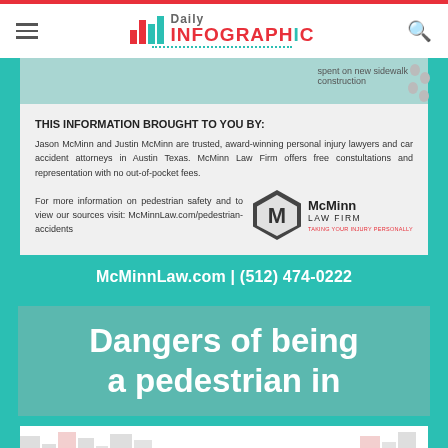Daily Infographic
[Figure (infographic): Partial teal infographic section with footprint icons and partially visible text about sidewalk construction]
THIS INFORMATION BROUGHT TO YOU BY:
Jason McMinn and Justin McMinn are trusted, award-winning personal injury lawyers and car accident attorneys in Austin Texas. McMinn Law Firm offers free constultations and representation with no out-of-pocket fees.

For more information on pedestrian safety and to view our sources visit: McMinnLaw.com/pedestrian-accidents
[Figure (logo): McMinn Law Firm hexagonal logo with M letter mark and tagline TAKING YOUR INJURY PERSONALLY]
McMinnLaw.com | (512) 474-0222
Dangers of being a pedestrian in